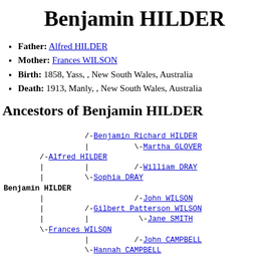Benjamin HILDER
Father: Alfred HILDER
Mother: Frances WILSON
Birth: 1858, Yass, , New South Wales, Australia
Death: 1913, Manly, , New South Wales, Australia
Ancestors of Benjamin HILDER
[Figure (other): Ancestor tree diagram for Benjamin HILDER showing family lineage including Alfred HILDER, Frances WILSON, Benjamin Richard HILDER, Martha GLOVER, William DRAY, Sophia DRAY, John WILSON, Gilbert Patterson WILSON, Jane SMITH, John CAMPBELL, Hannah CAMPBELL]